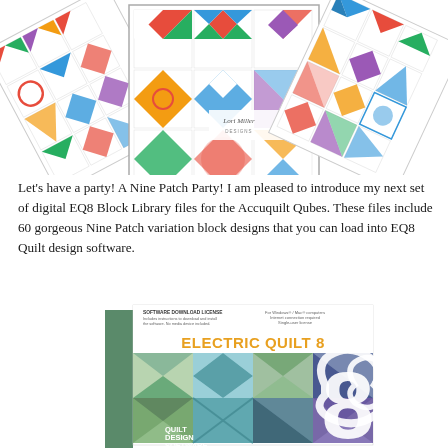[Figure (photo): Fan of quilt block design sheets fanned out, showing colorful Nine Patch quilt block patterns, with 'Lori Miller Designs' branding visible on the center sheet]
Let's have a party!  A Nine Patch Party!  I am pleased to introduce my next set of digital EQ8 Block Library files for the Accuquilt Qubes.  These files include 60 gorgeous Nine Patch variation block designs that you can load into EQ8 Quilt design software.
[Figure (photo): Electric Quilt 8 software box product image showing the EQ8 Quilt Design Software box with geometric quilt pattern on the cover and a large stylized '8' logo]